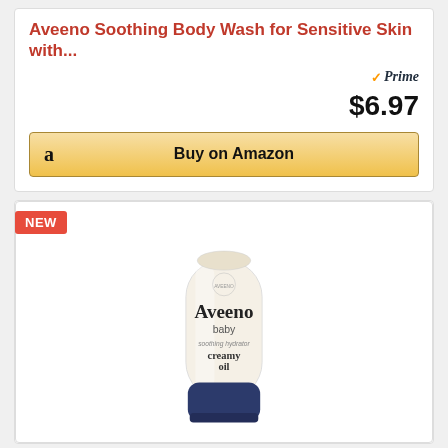Aveeno Soothing Body Wash for Sensitive Skin with...
Prime
$6.97
Buy on Amazon
NEW
[Figure (photo): Aveeno Baby Soothing Hydrator Creamy Oil tube product photo, cream-colored tube with navy blue cap, featuring Aveeno baby branding and product details]